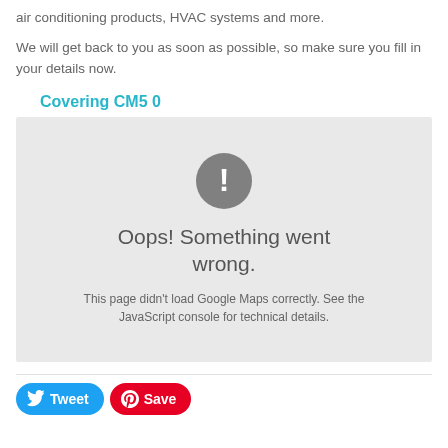air conditioning products, HVAC systems and more.
We will get back to you as soon as possible, so make sure you fill in your details now.
Covering CM5 0
[Figure (screenshot): Google Maps error box with grey background showing exclamation mark icon, 'Oops! Something went wrong.' heading, and 'This page didn't load Google Maps correctly. See the JavaScript console for technical details.' message.]
[Figure (other): Twitter Tweet button (blue, rounded) and Pinterest Save button (red, rounded)]